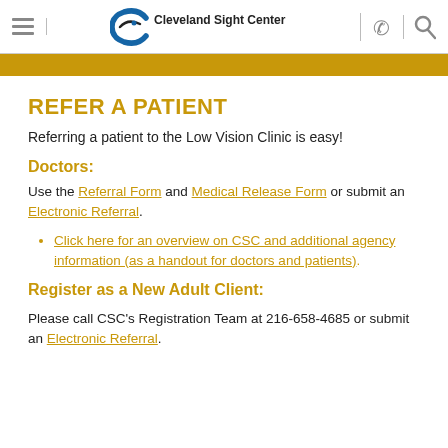Cleveland Sight Center
REFER A PATIENT
Referring a patient to the Low Vision Clinic is easy!
Doctors:
Use the Referral Form and Medical Release Form or submit an Electronic Referral.
Click here for an overview on CSC and additional agency information (as a handout for doctors and patients).
Register as a New Adult Client:
Please call CSC's Registration Team at 216-658-4685 or submit an Electronic Referral.